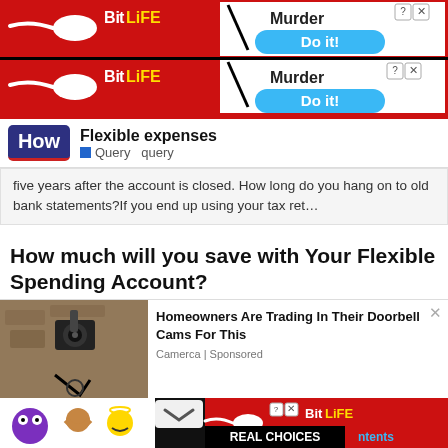[Figure (screenshot): BitLife app advertisement banner (red background) with sperm mascot logo, 'Murder Do it!' buttons in blue, shown twice stacked]
Flexible expenses
Query  query
five years after the account is closed. How long do you hang on to old bank statements?If you end up using your tax ret…
How much will you save with Your Flexible Spending Account?
[Figure (photo): Security camera mounted on a stone wall]
Homeowners Are Trading In Their Doorbell Cams For This
Camerca | Sponsored
your tax... health care and... greater...
[Figure (screenshot): BitLife advertisement bottom bar with emojis and 'REAL CHOICES' branding, with 'ntents' text in blue]